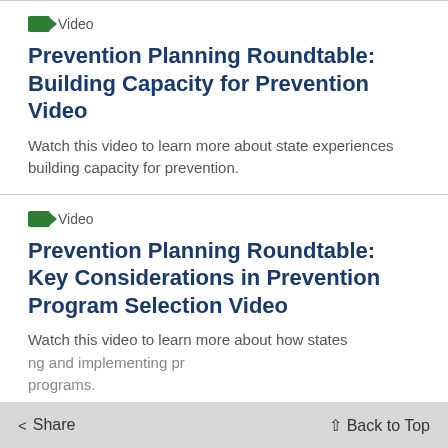Video
Prevention Planning Roundtable: Building Capacity for Prevention Video
Watch this video to learn more about state experiences building capacity for prevention.
Video
Prevention Planning Roundtable: Key Considerations in Prevention Program Selection Video
Watch this video to learn more about how states are implementing programs.
Share   Back to Top